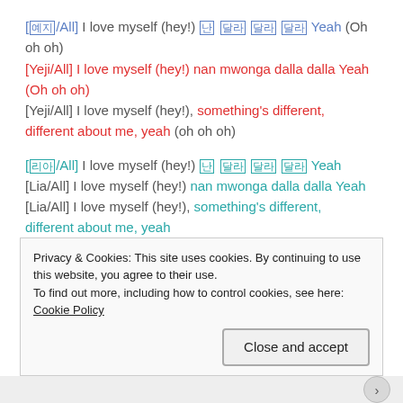[예지/All] I love myself (hey!) 난 달라 달라 달라 Yeah (Oh oh oh) [Yeji/All] I love myself (hey!) nan mwonga dalla dalla Yeah (Oh oh oh) [Yeji/All] I love myself (hey!), something's different, different about me, yeah (oh oh oh)
[리아/All] I love myself (hey!) 난 달라 달라 달라 Yeah [Lia/All] I love myself (hey!) nan mwonga dalla dalla Yeah [Lia/All] I love myself (hey!), something's different, different about me, yeah
난 달라 달라 달라 Yeah
Privacy & Cookies: This site uses cookies. By continuing to use this website, you agree to their use. To find out more, including how to control cookies, see here: Cookie Policy
Close and accept